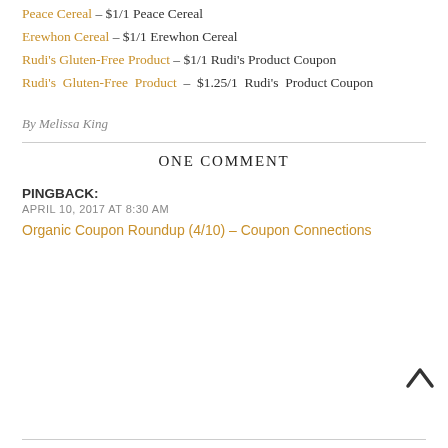Peace Cereal – $1/1 Peace Cereal
Erewhon Cereal – $1/1 Erewhon Cereal
Rudi's Gluten-Free Product – $1/1 Rudi's Product Coupon
Rudi's Gluten-Free Product – $1.25/1 Rudi's Product Coupon
By Melissa King
ONE COMMENT
PINGBACK:
APRIL 10, 2017 AT 8:30 AM
Organic Coupon Roundup (4/10) – Coupon Connections